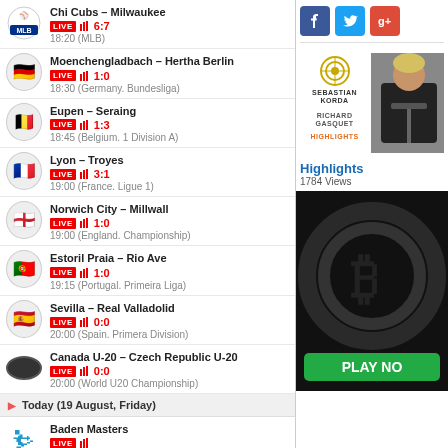Chi Cubs – Milwaukee LIVE 6:7 18:20 (MLB)
Moenchengladbach – Hertha Berlin LIVE 1:0 18:30 (Germany. Bundesliga)
Eupen – Seraing LIVE 1:3 18:45 (Belgium. 1 Division A)
Lyon – Troyes LIVE 3:1 19:00 (France. Ligue 1)
Norwich City – Millwall LIVE 1:0 19:00 (England. Championship)
Estoril Praia – Rio Ave LIVE 1:0 19:15 (Portugal. Primeira Liga)
Sevilla – Real Valladolid LIVE 0:0 20:00 (Spain. Primera Division)
Canada U-20 – Czech Republic U-20 LIVE 0:0 20:00 (World U20 Championship)
Today (19 August, Friday)
Baden Masters LIVE 6:00 (Curling)
European Masters LIVE 9:00 (Snooker Masters)
[Figure (screenshot): Social media icons: Facebook, Twitter, Google+]
[Figure (photo): Tennis highlight: Sebastian Korda vs Richard Gasquet – Highlights thumbnail with player photo]
Highlights 1784 Views
[Figure (photo): Bitcoin cryptocurrency advertisement with PLAY NOW button]